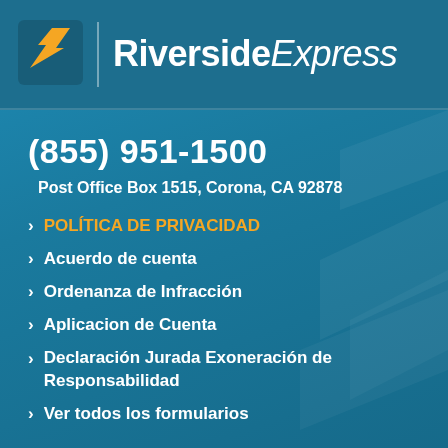[Figure (logo): Riverside Express logo with stylized R icon and bold italic text]
(855) 951-1500
Post Office Box 1515, Corona, CA 92878
POLÍTICA DE PRIVACIDAD
Acuerdo de cuenta
Ordenanza de Infracción
Aplicacion de Cuenta
Declaración Jurada Exoneración de Responsabilidad
Ver todos los formularios